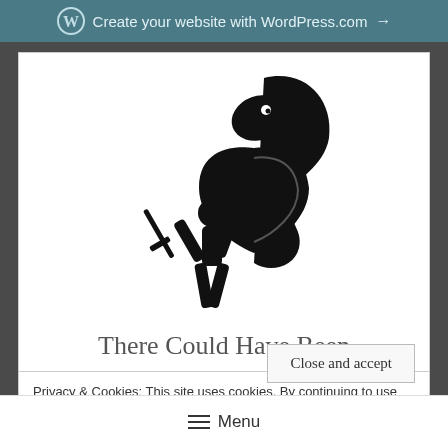Create your website with WordPress.com →
[Figure (illustration): Black silhouette illustration of a stick figure warrior holding a sword and shield, fighting a large snake or serpent creature.]
There Could Have Been
Privacy & Cookies: This site uses cookies. By continuing to use this website, you agree to their use.
To find out more, including how to control cookies, see here: Cookie Policy
Close and accept
Menu